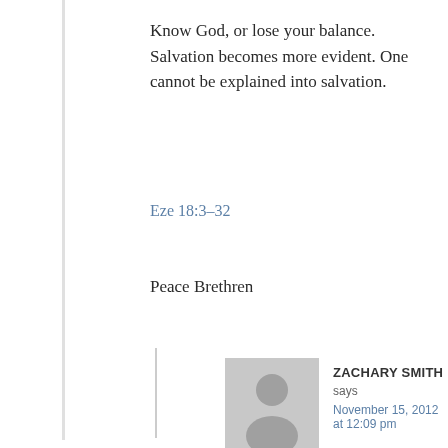Know God, or lose your balance. Salvation becomes more evident. One cannot be explained into salvation.
Eze 18:3-32
Peace Brethren
ZACHARY SMITH says
November 15, 2012 at 12:09 pm
Well said!!